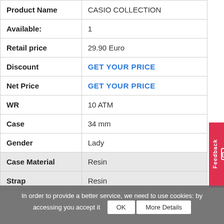| Field | Value |
| --- | --- |
| Product Name | CASIO COLLECTION |
| Available: | 1 |
| Retail price | 29.90 Euro |
| Discount | GET YOUR PRICE |
| Net Price | GET YOUR PRICE |
| WR | 10 ATM |
| Case | 34 mm |
| Gender | Lady |
| Case Material | Resin |
| Strap | Resin |
In order to provide a better service, we need to use cookies: by accessing you accept it   OK   More Details